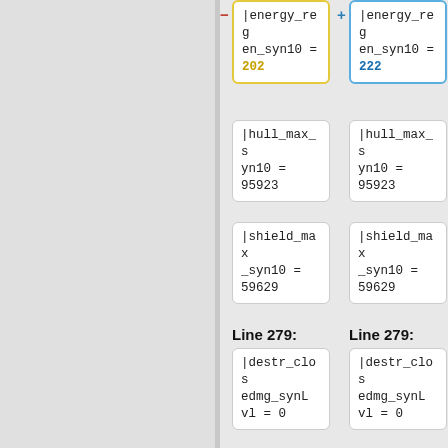|energy_regen_syn10 = 202
|energy_regen_syn10 = 222
|hull_max_syn10 = 95923
|hull_max_syn10 = 95923
|shield_max_syn10 = 59629
|shield_max_syn10 = 59629
Line 279:
Line 279:
|destr_closedmg_synLvl = 0
|destr_closedmg_synLvl = 0
<!-- Synergy unlocked bonus block -->
<!-- Synergy unlocked bonus block -->
|hull_resist_kinetic_add = "27 pts"
|hull_resist_kinetic_add = "27" pts